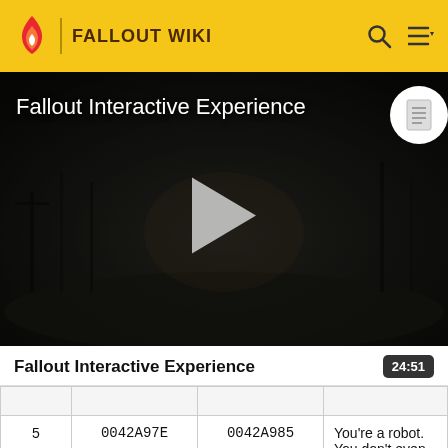FALLOUT WIKI
[Figure (screenshot): Dark post-apocalyptic video thumbnail showing a desolate landscape with dead trees and dim lighting. Large white play button in center. Title 'Fallout Interactive Experience' in white text top left. Document icon badge top right.]
Fallout Interactive Experience
24:51
|  |  |  |  |
| --- | --- | --- | --- |
| 5 | 0042A97E | 0042A985 | You're a robot. You don't even know what funny is. |